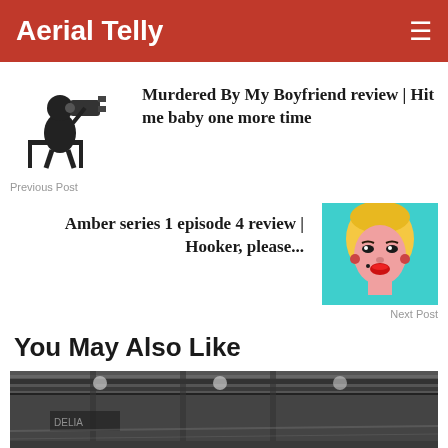Aerial Telly
[Figure (illustration): Black and white illustration of a person sitting in a chair operating a film camera]
Murdered By My Boyfriend review | Hit me baby one more time
Previous Post
Amber series 1 episode 4 review | Hooker, please...
[Figure (illustration): Andy Warhol style pop art portrait of Marilyn Monroe on teal background]
Next Post
You May Also Like
[Figure (photo): Black and white photograph of a subway or underground tunnel interior with industrial ceiling]